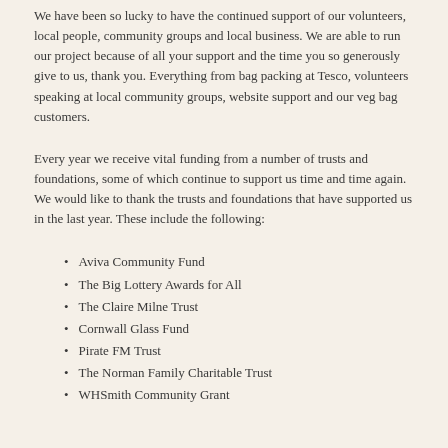We have been so lucky to have the continued support of our volunteers, local people, community groups and local business. We are able to run our project because of all your support and the time you so generously give to us, thank you. Everything from bag packing at Tesco, volunteers speaking at local community groups, website support and our veg bag customers.
Every year we receive vital funding from a number of trusts and foundations, some of which continue to support us time and time again. We would like to thank the trusts and foundations that have supported us in the last year. These include the following:
Aviva Community Fund
The Big Lottery Awards for All
The Claire Milne Trust
Cornwall Glass Fund
Pirate FM Trust
The Norman Family Charitable Trust
WHSmith Community Grant
Dates for your Diary
27th March: Team candle making at St. Eval